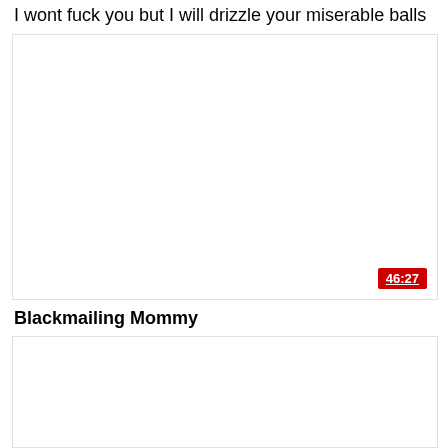I wont fuck you but I will drizzle your miserable balls
[Figure (other): Video thumbnail placeholder, white rectangle with border]
46:27
Blackmailing Mommy
[Figure (other): Second video thumbnail placeholder, white rectangle with border]